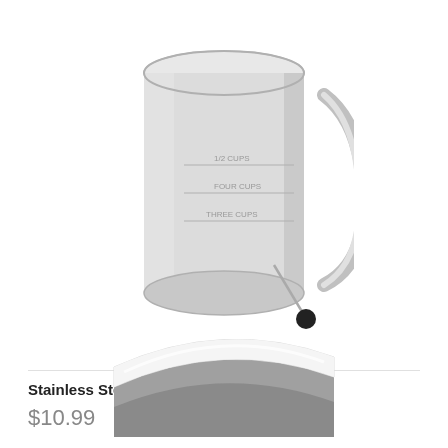[Figure (photo): A stainless steel rotary flour sifter with a handle and a black trigger/knob on the side, viewed at an angle showing measurement markings on the side.]
Stainless Steel Rotary Sifter 5 Cup
$10.99
[Figure (photo): A bench scraper or dough cutter with a stainless steel blade and a white handle, viewed from above at an angle.]